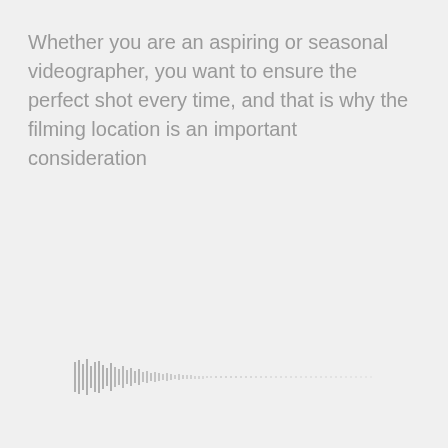Whether you are an aspiring or seasonal videographer, you want to ensure the perfect shot every time, and that is why the filming location is an important consideration
[Figure (other): Audio waveform visualization showing decreasing amplitude bars from left to right, fading into dots]